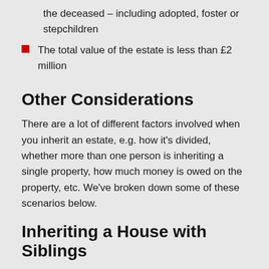the deceased – including adopted, foster or stepchildren
The total value of the estate is less than £2 million
Other Considerations
There are a lot of different factors involved when you inherit an estate, e.g. how it's divided, whether more than one person is inheriting a single property, how much money is owed on the property, etc. We've broken down some of these scenarios below.
Inheriting a House with Siblings
When a property is shared between people, you become